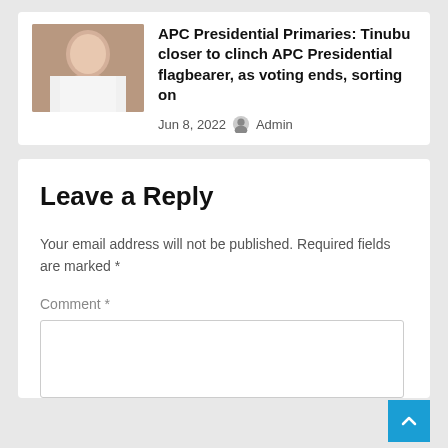[Figure (photo): Portrait photo of a man in white attire]
APC Presidential Primaries: Tinubu closer to clinch APC Presidential flagbearer, as voting ends, sorting on
Jun 8, 2022  Admin
Leave a Reply
Your email address will not be published. Required fields are marked *
Comment *